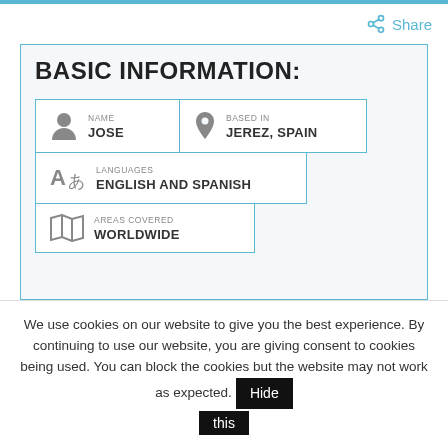Share
BASIC INFORMATION:
| Field | Value |
| --- | --- |
| NAME | JOSE |
| BASED IN | JEREZ, SPAIN |
| LANGUAGES | ENGLISH AND SPANISH |
| AREAS COVERED | WORLDWIDE |
We use cookies on our website to give you the best experience. By continuing to use our website, you are giving consent to cookies being used. You can block the cookies but the website may not work as expected. Hide this